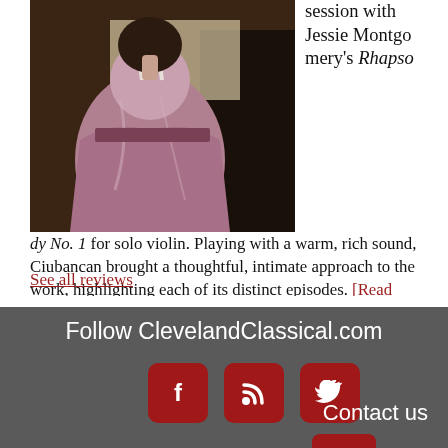[Figure (photo): A person in a mauve/pink satin dress standing in front of a piano, photographed from behind/side. The image is cropped showing the torso and dress.]
session with Jessie Montgomery's Rhapsody No. 1 for solo violin. Playing with a warm, rich sound, Ciubancan brought a thoughtful, intimate approach to the work, highlighting each of its distinct episodes. [Read on...]
See all reviews
Follow ClevelandClassical.com
[Figure (other): Facebook icon button (dark red rounded square)]
[Figure (other): RSS feed icon button (dark red rounded square)]
[Figure (other): Twitter icon button (dark red rounded square)]
Contact us